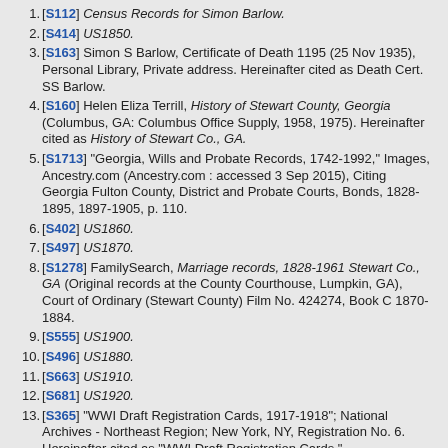1. [S112] Census Records for Simon Barlow.
2. [S414] US1850.
3. [S163] Simon S Barlow, Certificate of Death 1195 (25 Nov 1935), Personal Library, Private address. Hereinafter cited as Death Cert. SS Barlow.
4. [S160] Helen Eliza Terrill, History of Stewart County, Georgia (Columbus, GA: Columbus Office Supply, 1958, 1975). Hereinafter cited as History of Stewart Co., GA.
5. [S1713] "Georgia, Wills and Probate Records, 1742-1992," Images, Ancestry.com (Ancestry.com : accessed 3 Sep 2015), Citing Georgia Fulton County, District and Probate Courts, Bonds, 1828-1895, 1897-1905, p. 110.
6. [S402] US1860.
7. [S497] US1870.
8. [S1278] FamilySearch, Marriage records, 1828-1961 Stewart Co., GA (Original records at the County Courthouse, Lumpkin, GA), Court of Ordinary (Stewart County) Film No. 424274, Book C 1870-1884.
9. [S555] US1900.
10. [S496] US1880.
11. [S663] US1910.
12. [S681] US1920.
13. [S365] "WWI Draft Registration Cards, 1917-1918"; National Archives - Northeast Region; New York, NY, Registration No. 6. Hereinafter cited as "WWI Draft Registration Cards."
14. [S679] US1930.
15. [S162] Mrs. Lola Florilla Amanda Barlow, Certificate of Death 453